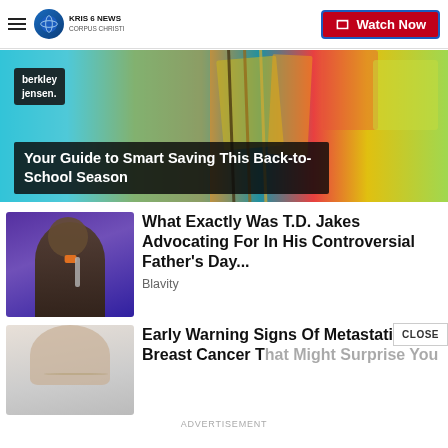KRIS 6 NEWS CORPUS CHRISTI — Watch Now
[Figure (photo): Promotional banner for back-to-school savings with school supplies in background, Berkley Jensen badge, dark overlay with title text]
Your Guide to Smart Saving This Back-to-School Season
[Figure (photo): Man in suit speaking into microphone on stage with purple lighting — T.D. Jakes]
What Exactly Was T.D. Jakes Advocating For In His Controversial Father's Day...
Blavity
[Figure (photo): Partial image of a woman with a necklace, lower portion cut off]
Early Warning Signs Of Metastatic Breast Cancer That Might Surprise You
ADVERTISEMENT
CLOSE